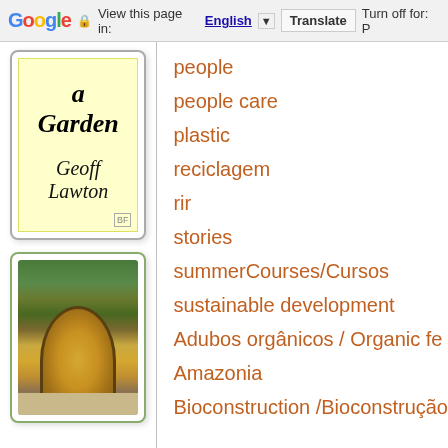Google  View this page in: English ▼  Translate  Turn off for: P
[Figure (illustration): Book cover with yellow background titled 'a Garden' by Geoff Lawton]
[Figure (photo): Photo of a hobbit-style house with a round yellow door covered in vines and greenery]
people
people care
plastic
reciclagem
rir
stories
summerCourses/Cursos
sustainable development
Adubos orgânicos / Organic fe
Amazonia
Bioconstruction /Bioconstrução